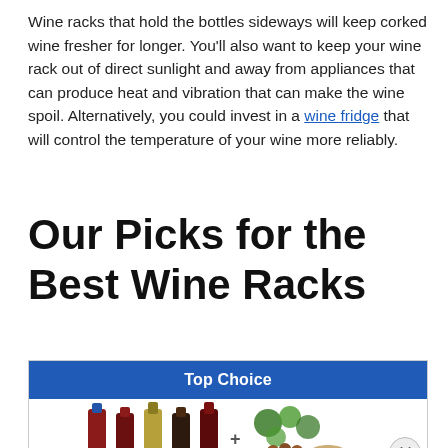Wine racks that hold the bottles sideways will keep corked wine fresher for longer. You'll also want to keep your wine rack out of direct sunlight and away from appliances that can produce heat and vibration that can make the wine spoil. Alternatively, you could invest in a wine fridge that will control the temperature of your wine more reliably.
Our Picks for the Best Wine Racks
[Figure (other): A product card with a blue 'Top Choice' header banner and an image of wine bottles with grapes and decorative elements below.]